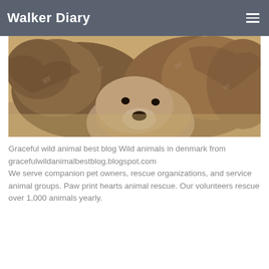Walker Diary
[Figure (photo): Two brown bears close together, photographed outdoors with natural background, stock photo watermark visible]
Graceful wild animal best blog Wild animals in denmark from gracefulwildanimalbestblog.blogspot.com
We serve companion pet owners, rescue organizations, and service animal groups. Paw print hearts animal rescue. Our volunteers rescue over 1,000 animals yearly.